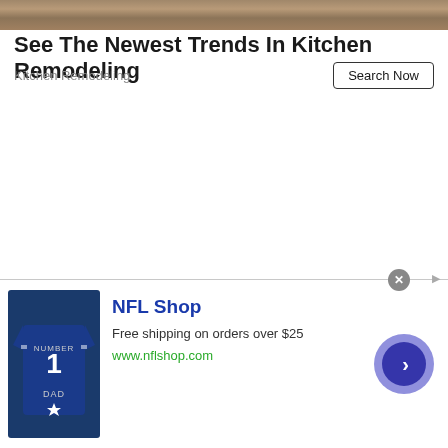[Figure (photo): Kitchen countertop background image — stone/granite texture, top banner image for ad]
See The Newest Trends In Kitchen Remodeling
Kitchen Remodeling
Search Now
[Figure (photo): NFL Shop advertisement banner at the bottom. Shows Dallas Cowboys jersey with number 1 and DAD text. NFL Shop title with free shipping offer and www.nflshop.com link, and a blue chevron button.]
NFL Shop
Free shipping on orders over $25
www.nflshop.com